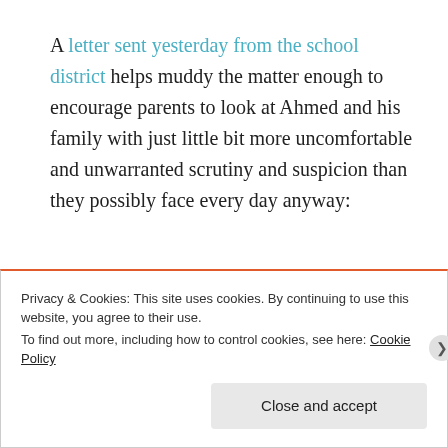A letter sent yesterday from the school district helps muddy the matter enough to encourage parents to look at Ahmed and his family with just little bit more uncomfortable and unwarranted scrutiny and suspicion than they possibly face every day anyway:
Privacy & Cookies: This site uses cookies. By continuing to use this website, you agree to their use.
To find out more, including how to control cookies, see here: Cookie Policy
Close and accept